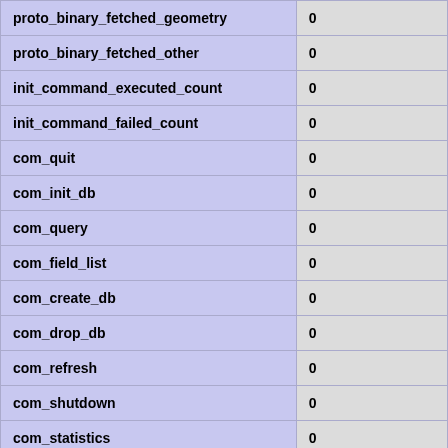| Variable | Value |
| --- | --- |
| proto_binary_fetched_geometry | 0 |
| proto_binary_fetched_other | 0 |
| init_command_executed_count | 0 |
| init_command_failed_count | 0 |
| com_quit | 0 |
| com_init_db | 0 |
| com_query | 0 |
| com_field_list | 0 |
| com_create_db | 0 |
| com_drop_db | 0 |
| com_refresh | 0 |
| com_shutdown | 0 |
| com_statistics | 0 |
| com_process_info | 0 |
| com_connect | 0 |
| com_process_kill | 0 |
| com_debug | 0 |
| com_ping | 0 |
| com_time | 0 |
| com_delayed_insert | 0 |